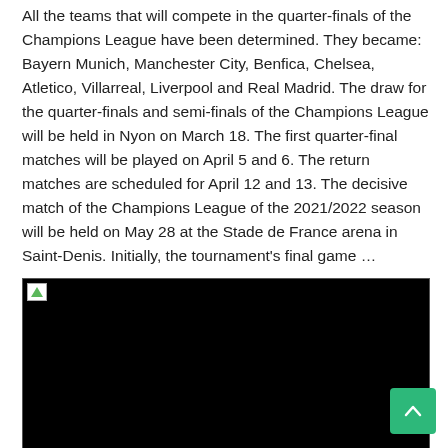All the teams that will compete in the quarter-finals of the Champions League have been determined. They became: Bayern Munich, Manchester City, Benfica, Chelsea, Atletico, Villarreal, Liverpool and Real Madrid. The draw for the quarter-finals and semi-finals of the Champions League will be held in Nyon on March 18. The first quarter-final matches will be played on April 5 and 6. The return matches are scheduled for April 12 and 13. The decisive match of the Champions League of the 2021/2022 season will be held on May 28 at the Stade de France arena in Saint-Denis. Initially, the tournament's final game …
Read More »
[Figure (photo): Black image with broken image icon in top-left corner]